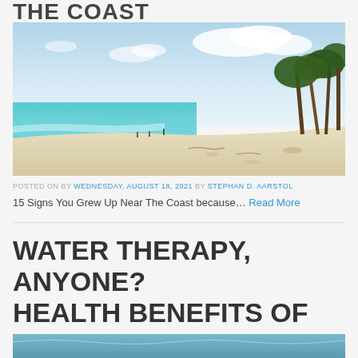THE COAST
[Figure (photo): Tropical beach scene with white sand, turquoise water, palm trees on the right side, people walking near the shoreline, and a partly cloudy sky]
POSTED ON BY WEDNESDAY, AUGUST 18, 2021 BY STEPHAN D. AARSTOL
15 Signs You Grew Up Near The Coast because… Read More
WATER THERAPY, ANYONE? HEALTH BENEFITS OF BEACH LIVING
[Figure (photo): Partial view of a beach or water scene, cropped at bottom of page]